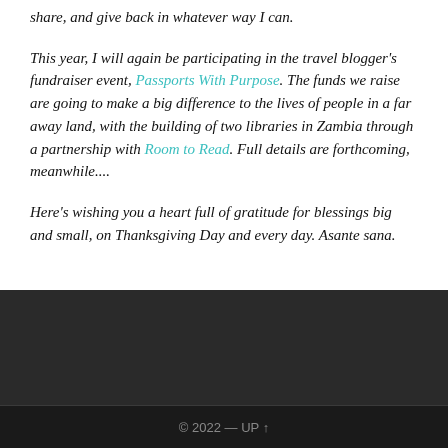share, and give back in whatever way I can.
This year, I will again be participating in the travel blogger's fundraiser event, Passports With Purpose. The funds we raise are going to make a big difference to the lives of people in a far away land, with the building of two libraries in Zambia through a partnership with Room to Read. Full details are forthcoming, meanwhile....
Here's wishing you a heart full of gratitude for blessings big and small, on Thanksgiving Day and every day. Asante sana.
© 2022 — UP ↑